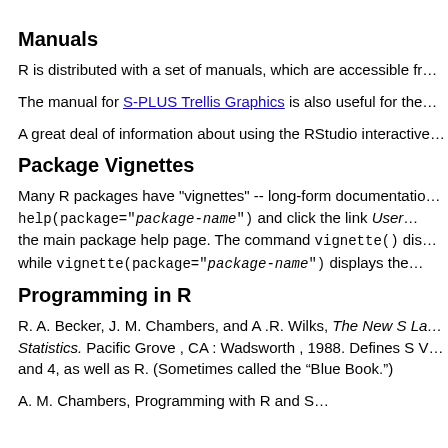Manuals
R is distributed with a set of manuals, which are accessible fr…
The manual for S-PLUS Trellis Graphics is also useful for the…
A great deal of information about using the RStudio interactive…
Package Vignettes
Many R packages have "vignettes" -- long-form documentation… help(package="package-name") and click the link User… the main package help page. The command vignette() dis… while vignette(package="package-name") displays the…
Programming in R
R. A. Becker, J. M. Chambers, and A .R. Wilks, The New S La… Statistics. Pacific Grove , CA : Wadsworth , 1988. Defines S V… and 4, as well as R. (Sometimes called the “Blue Book.”)
A. M. Chambers, Programming with R and S…